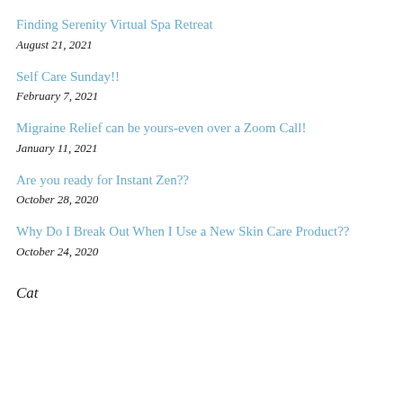Finding Serenity Virtual Spa Retreat
August 21, 2021
Self Care Sunday!!
February 7, 2021
Migraine Relief can be yours-even over a Zoom Call!
January 11, 2021
Are you ready for Instant Zen??
October 28, 2020
Why Do I Break Out When I Use a New Skin Care Product??
October 24, 2020
Categories